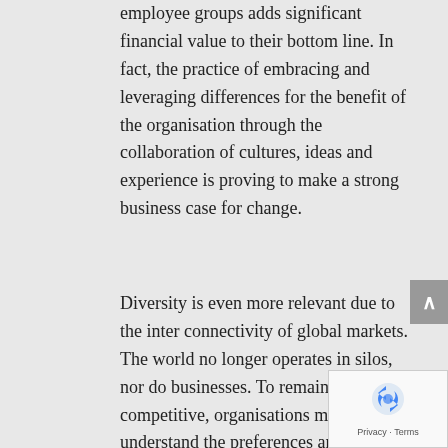employee groups adds significant financial value to their bottom line. In fact, the practice of embracing and leveraging differences for the benefit of the organisation through the collaboration of cultures, ideas and experience is proving to make a strong business case for change.
Diversity is even more relevant due to the inter connectivity of global markets. The world no longer operates in silos, nor do businesses. To remain competitive, organisations must understand the preferences and needs of their